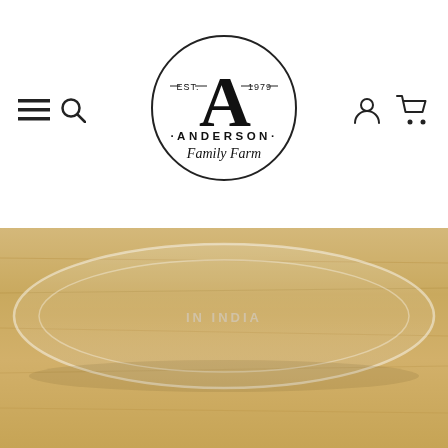[Figure (logo): Anderson Family Farm logo: large letter A with EST. 1979, inside a circle, with ANDERSON and Family Farm text]
[Figure (photo): Close-up photo of a clear glass bowl on a wooden surface with 'IN INDIA' text visible on the bottom of the glass]